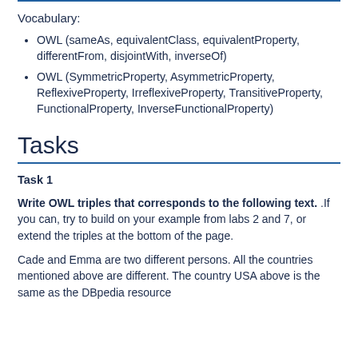OWL (sameAs, equivalentClass, equivalentProperty, differentFrom, disjointWith, inverseOf)
OWL (SymmetricProperty, AsymmetricProperty, ReflexiveProperty, IrreflexiveProperty, TransitiveProperty, FunctionalProperty, InverseFunctionalProperty)
Tasks
Task 1
Write OWL triples that corresponds to the following text. .If you can, try to build on your example from labs 2 and 7, or extend the triples at the bottom of the page.
Cade and Emma are two different persons. All the countries mentioned above are different. The country USA above is the same as the DBpedia resource